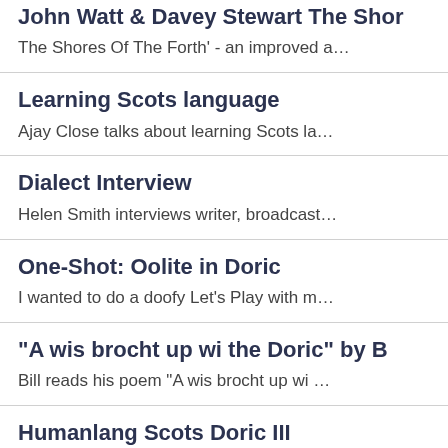John Watt & Davey Stewart  The Shor
The Shores Of The Forth' - an improved a…
Learning Scots language
Ajay Close talks about learning Scots la…
Dialect Interview
Helen Smith interviews writer, broadcast…
One-Shot: Oolite in Doric
I wanted to do a doofy Let's Play with m…
"A wis brocht up wi the Doric" by B
Bill reads his poem "A wis brocht up wi …
Humanlang Scots Doric III